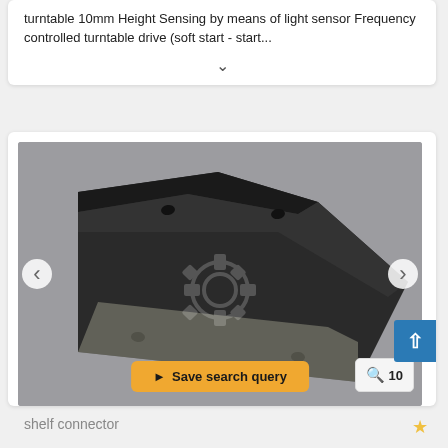turntable 10mm Height Sensing by means of light sensor Frequency controlled turntable drive (soft start - start...
[Figure (photo): A black L-shaped shelf connector bracket photographed on a gray background, with a watermark gear logo overlay. Navigation arrows on left and right sides of the image viewer.]
Save search query
10
shelf connector